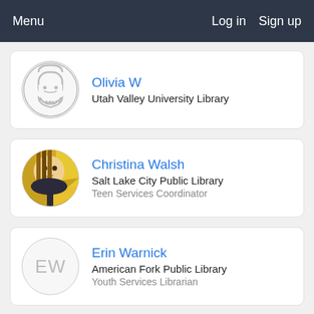Menu   Log in   Sign up
Olivia W
Utah Valley University Library
Christina Walsh
Salt Lake City Public Library
Teen Services Coordinator
Erin Warnick
American Fork Public Library
Youth Services Librarian